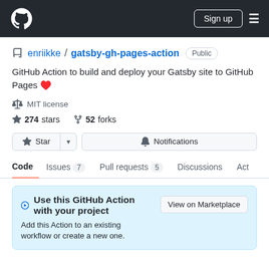GitHub — Sign up
enriikke / gatsby-gh-pages-action — Public
GitHub Action to build and deploy your Gatsby site to GitHub Pages ♥️
MIT license
274 stars   52 forks
Star | Notifications
Code   Issues 7   Pull requests 5   Discussions   Act
Use this GitHub Action with your project
Add this Action to an existing workflow or create a new one.
View on Marketplace